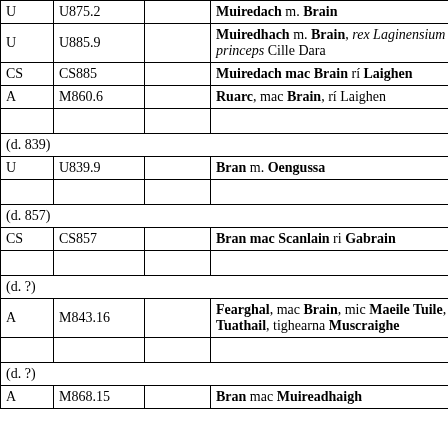|  |  |  |  |
| --- | --- | --- | --- |
| U | U875.2 |  | Muiredach m. Brain |
| U | U885.9 |  | Muiredhach m. Brain, rex Laginensium & princeps Cille Dara |
| CS | CS885 |  | Muiredach mac Brain rí Laighen |
| A | M860.6 |  | Ruarc, mac Brain, rí Laighen |
| (empty row) |  |  |  |
| (d. 839) |  |  |  |
| U | U839.9 |  | Bran m. Oengussa |
| (empty row) |  |  |  |
| (d. 857) |  |  |  |
| CS | CS857 |  | Bran mac Scanlain ri Gabrain |
| (empty row) |  |  |  |
| (d. ?) |  |  |  |
| A | M843.16 |  | Fearghal, mac Brain, mic Maeile Tuile, mic Tuathail, tighearna Muscraighe |
| (empty row) |  |  |  |
| (d. ?) |  |  |  |
| A | M868.15 |  | Bran mac Muireadhaigh |